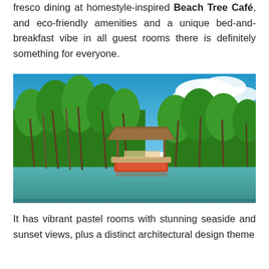fresco dining at homestyle-inspired Beach Tree Café, and eco-friendly amenities and a unique bed-and-breakfast vibe in all guest rooms there is definitely something for everyone.
[Figure (photo): A tropical river scene with lush palm trees lining both banks and a floating restaurant/boat with a thatched roof in the middle of the calm turquoise water, under a bright blue sky with white clouds.]
It has vibrant pastel rooms with stunning seaside and sunset views, plus a distinct architectural design theme